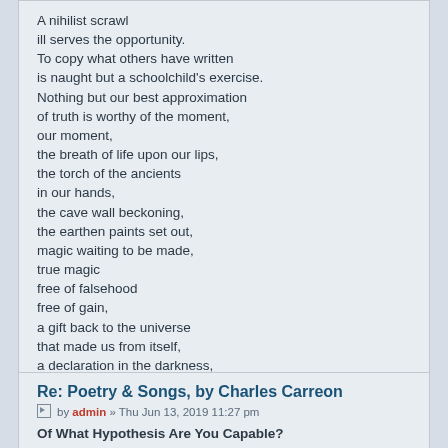A nihilist scrawl
ill serves the opportunity.
To copy what others have written
is naught but a schoolchild's exercise.
Nothing but our best approximation
of truth is worthy of the moment,
our moment,
the breath of life upon our lips,
the torch of the ancients
in our hands,
the cave wall beckoning,
the earthen paints set out,
magic waiting to be made,
true magic
free of falsehood
free of gain,
a gift back to the universe
that made us from itself,
a declaration in the darkness,
to echo the infinite's call.
Re: Poetry & Songs, by Charles Carreon
by admin » Thu Jun 13, 2019 11:27 pm
Of What Hypothesis Are You Capable?